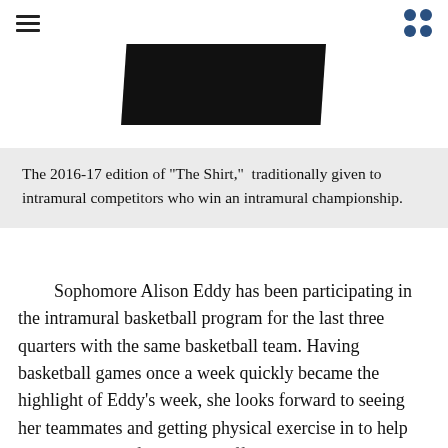[Figure (photo): Bottom portion of a black shirt or garment on a white background]
The 2016-17 edition of "The Shirt,"  traditionally given to intramural competitors who win an intramural championship.
Sophomore Alison Eddy has been participating in the intramural basketball program for the last three quarters with the same basketball team. Having basketball games once a week quickly became the highlight of Eddy’s week, she looks forward to seeing her teammates and getting physical exercise in to help with the stress of school. “It offers a good way to relieve stress, that’s what I really take away from it,” Eddy said. Eddy plays on a coed basketball